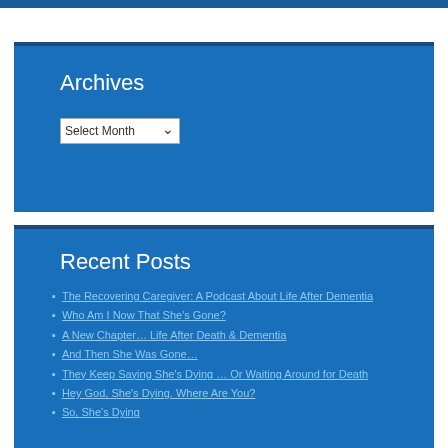Archives
Select Month (dropdown)
Recent Posts
The Recovering Caregiver: A Podcast About Life After Dementia
Who Am I Now That She's Gone?
A New Chapter… Life After Death & Dementia
And Then She Was Gone…
They Keep Saying She's Dying … Or Waiting Around for Death
Hey God, She's Dying. Where Are You?
So, She's Dying